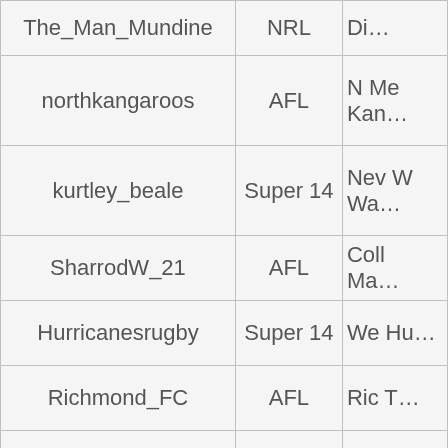| Username | League | Description |
| --- | --- | --- |
| The_Man_Mundine | NRL | Di… |
| northkangaroos | AFL | Me Ka… |
| kurtley_beale | Super 14 | Nev W Wa… |
| SharrodW_21 | AFL | Coll Ma… |
| Hurricanesrugby | Super 14 | We Hu… |
| Richmond_FC | AFL | Ric T… |
| Geelong_FC | AFL | Geel… |
| HawthornFC | AFL | Ha H… |
| BENJI_MARSHALL6 | NRL | Wes… |